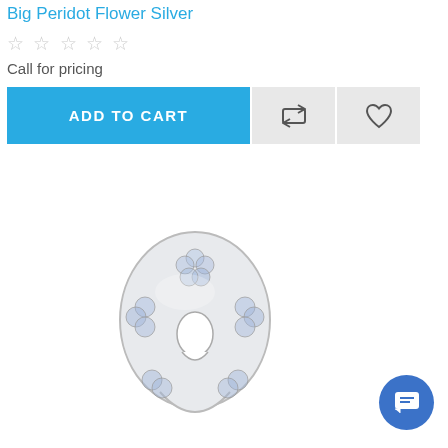Big Peridot Flower Silver
☆ ☆ ☆ ☆ ☆
Call for pricing
[Figure (screenshot): Add to Cart button row with compare and wishlist icon buttons]
[Figure (photo): Silver flower pendant jewellery piece with crystal stones in a teardrop/flower shape]